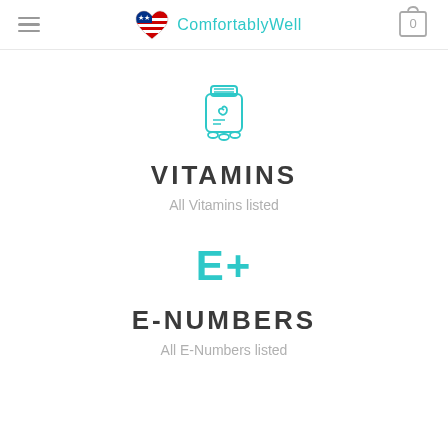ComfortablyWell
[Figure (illustration): Supplement/vitamin bottle icon with pills, drawn in teal/cyan outline style]
VITAMINS
All Vitamins listed
[Figure (logo): E+ text logo in bold teal/cyan color]
E-NUMBERS
All E-Numbers listed